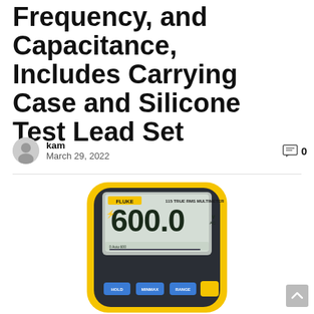Frequency, and Capacitance, Includes Carrying Case and Silicone Test Lead Set
kam
March 29, 2022
[Figure (photo): Fluke 115 True RMS Multimeter showing 600.0 V AC reading on display, with HOLD, MINMAX, RANGE buttons and a yellow power button visible on the front panel.]